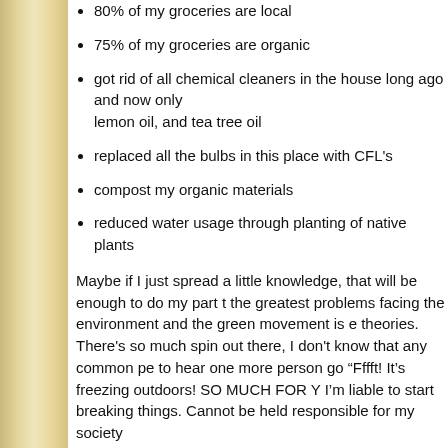80% of my groceries are local
75% of my groceries are organic
got rid of all chemical cleaners in the house long ago and now only use lemon oil, and tea tree oil
replaced all the bulbs in this place with CFL's
compost my organic materials
reduced water usage through planting of native plants
Maybe if I just spread a little knowledge, that will be enough to do my part to the greatest problems facing the environment and the green movement is e theories. There's so much spin out there, I don't know that any common pe to hear one more person go "Fffft! It's freezing outdoors! SO MUCH FOR Y I'm liable to start breaking things. Cannot be held responsible for my society
Here's a piece of sage wisdom. Before you purchase something, even if it's everything that went into making that product. Not just the materials themse flavors and colors...think about the resources that were consumed to grow or the fertilizer, but also the fuel used to run the farm equipment and the co vegetation to accommodate the large-scale farming. Think of these things a have on the environment (you'll need to do a little footwork on your own to f whether or not it's worth it to buy that product or if you can find a more viab